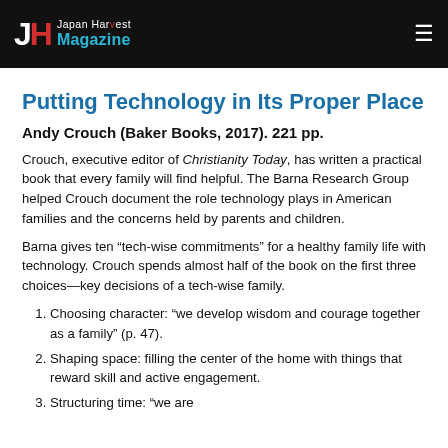Japan Harvest Magazine
Putting Technology in Its Proper Place
Andy Crouch (Baker Books, 2017). 221 pp.
Crouch, executive editor of Christianity Today, has written a practical book that every family will find helpful. The Barna Research Group helped Crouch document the role technology plays in American families and the concerns held by parents and children.
Barna gives ten “tech-wise commitments” for a healthy family life with technology. Crouch spends almost half of the book on the first three choices—key decisions of a tech-wise family.
Choosing character: “we develop wisdom and courage together as a family” (p. 47).
Shaping space: filling the center of the home with things that reward skill and active engagement.
Structuring time: “...